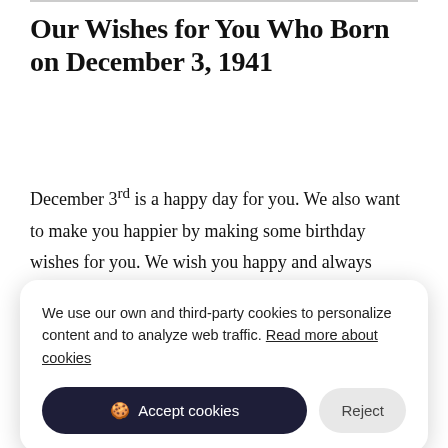Our Wishes for You Who Born on December 3, 1941
December 3rd is a happy day for you. We also want to make you happier by making some birthday wishes for you. We wish you happy and always happy.
[Figure (screenshot): Teal/cyan banner section partially visible behind cookie consent modal]
We use our own and third-party cookies to personalize content and to analyze web traffic. Read more about cookies
Accept cookies | Reject